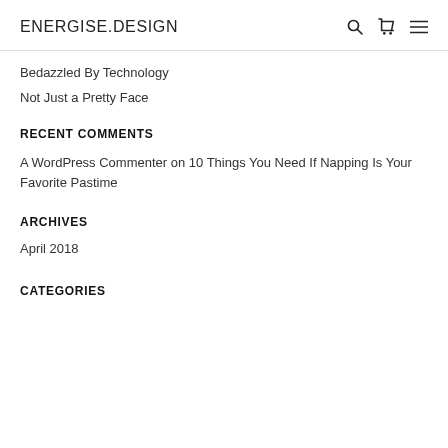ENERGISE.DESIGN
Bedazzled By Technology
Not Just a Pretty Face
RECENT COMMENTS
A WordPress Commenter on 10 Things You Need If Napping Is Your Favorite Pastime
ARCHIVES
April 2018
CATEGORIES